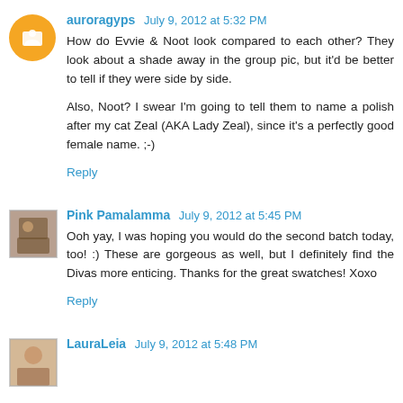auroragyps  July 9, 2012 at 5:32 PM
How do Evvie & Noot look compared to each other? They look about a shade away in the group pic, but it'd be better to tell if they were side by side.

Also, Noot? I swear I'm going to tell them to name a polish after my cat Zeal (AKA Lady Zeal), since it's a perfectly good female name. ;-)
Reply
Pink Pamalamma  July 9, 2012 at 5:45 PM
Ooh yay, I was hoping you would do the second batch today, too! :) These are gorgeous as well, but I definitely find the Divas more enticing. Thanks for the great swatches! Xoxo
Reply
LauraLeia  July 9, 2012 at 5:48 PM